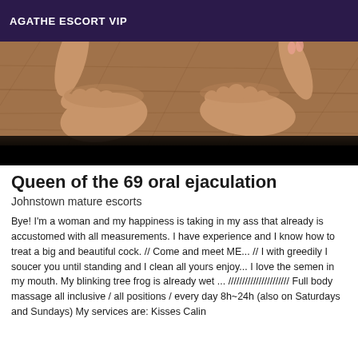AGATHE ESCORT VIP
[Figure (photo): Close-up photograph of feet and hands on a wooden surface]
Queen of the 69 oral ejaculation
Johnstown mature escorts
Bye! I'm a woman and my happiness is taking in my ass that already is accustomed with all measurements. I have experience and I know how to treat a big and beautiful cock. // Come and meet ME... // I with greedily I soucer you until standing and I clean all yours enjoy... I love the semen in my mouth. My blinking tree frog is already wet ... ////////////////////// Full body massage all inclusive / all positions / every day 8h~24h (also on Saturdays and Sundays) My services are: Kisses Calin